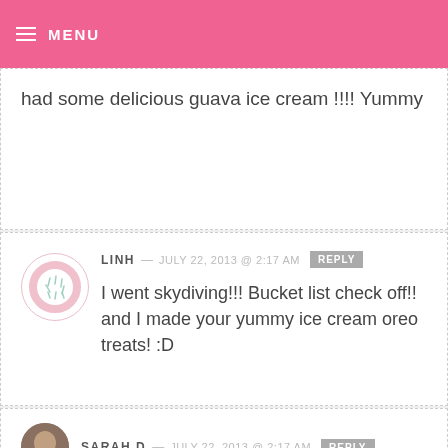MENU
had some delicious guava ice cream !!!! Yummy
LINH — JULY 22, 2013 @ 2:17 AM   REPLY
I went skydiving!!! Bucket list check off!! and I made your yummy ice cream oreo treats! :D
SARAH D — JULY 22, 2013 @ 2:17 AM   REPLY